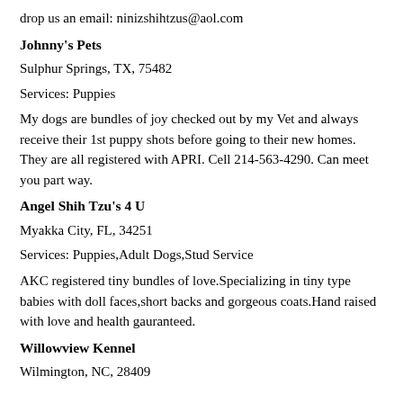drop us an email: ninizshihtzus@aol.com
Johnny's Pets
Sulphur Springs, TX, 75482
Services: Puppies
My dogs are bundles of joy checked out by my Vet and always receive their 1st puppy shots before going to their new homes. They are all registered with APRI. Cell 214-563-4290. Can meet you part way.
Angel Shih Tzu's 4 U
Myakka City, FL, 34251
Services: Puppies,Adult Dogs,Stud Service
AKC registered tiny bundles of love.Specializing in tiny type babies with doll faces,short backs and gorgeous coats.Hand raised with love and health gauranteed.
Willowview Kennel
Wilmington, NC, 28409